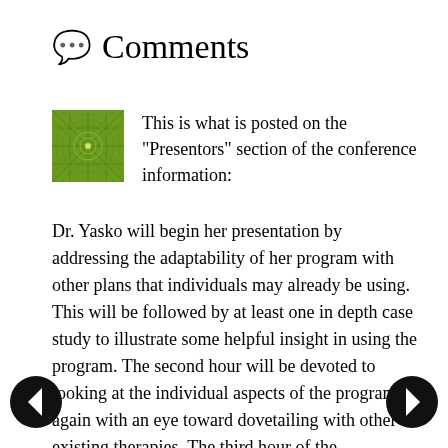Comments
This is what is posted on the "Presentors" section of the conference information:
Dr. Yasko will begin her presentation by addressing the adaptability of her program with other plans that individuals may already be using. This will be followed by at least one in depth case study to illustrate some helpful insight in using the program. The second hour will be devoted to looking at the individual aspects of the program, again with an eye toward dovetailing with other existing therapies. The third hour of the presentation will focus on nutrigenomic testing and will